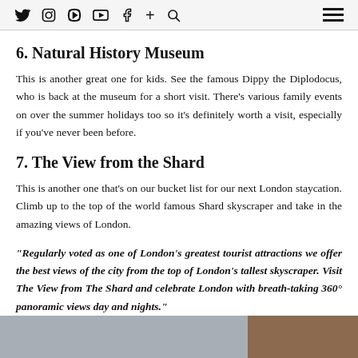Twitter Instagram Pinterest YouTube Facebook + Search [hamburger menu]
6. Natural History Museum
This is another great one for kids. See the famous Dippy the Diplodocus, who is back at the museum for a short visit. There's various family events on over the summer holidays too so it's definitely worth a visit, especially if you've never been before.
7. The View from the Shard
This is another one that's on our bucket list for our next London staycation. Climb up to the top of the world famous Shard skyscraper and take in the amazing views of London.
“Regularly voted as one of London’s greatest tourist attractions we offer the best views of the city from the top of London’s tallest skyscraper. Visit The View from The Shard and celebrate London with breath-taking 360° panoramic views day and nights.”
[Figure (photo): Photo strip showing two partial images — left image appears to be a grey building exterior, right image shows a brown/terracotta building facade]